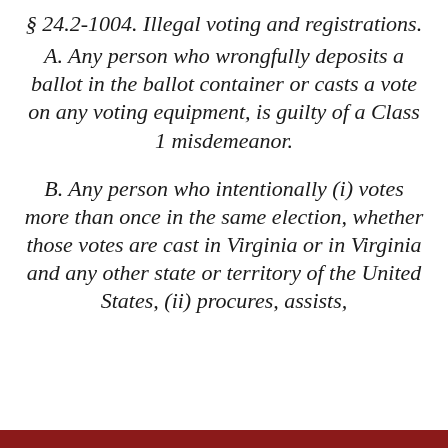§ 24.2-1004. Illegal voting and registrations.
A. Any person who wrongfully deposits a ballot in the ballot container or casts a vote on any voting equipment, is guilty of a Class 1 misdemeanor.
B. Any person who intentionally (i) votes more than once in the same election, whether those votes are cast in Virginia or in Virginia and any other state or territory of the United States, (ii) procures, assists,